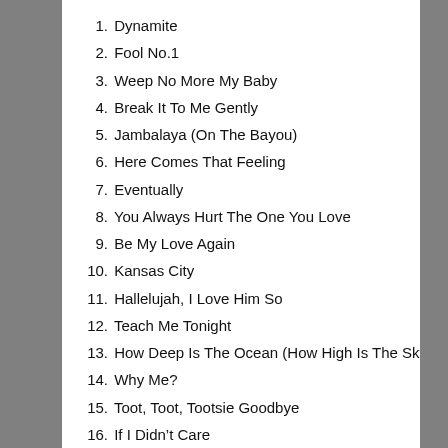1. Dynamite
2. Fool No.1
3. Weep No More My Baby
4. Break It To Me Gently
5. Jambalaya (On The Bayou)
6. Here Comes That Feeling
7. Eventually
8. You Always Hurt The One You Love
9. Be My Love Again
10. Kansas City
11. Hallelujah, I Love Him So
12. Teach Me Tonight
13. How Deep Is The Ocean (How High Is The Sky)
14. Why Me?
15. Toot, Toot, Tootsie Goodbye
16. If I Didn't Care
17. Pennies From Heaven
18. We Three (My Echo, My Shadow, And Me)